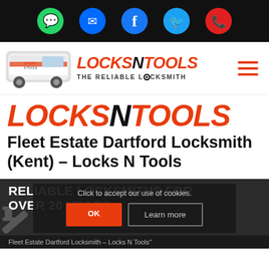Social media icons bar: WhatsApp, Messenger, Facebook, Twitter, Phone
[Figure (logo): Locks N Tools logo with van image, brand name LOCKSNTOOLS italic orange/black, tagline THE RELIABLE LOCKSMITH, hamburger menu icon]
[Figure (logo): Large LOCKSNTOOLS logo in italic orange with black N]
Fleet Estate Dartford Locksmith (Kent) – Locks N Tools
RELIABLE LOCKSMITHS FOR OVER 20 YEARS
Click to accept our use of cookies.
OK    Learn more
Fleet Estate Dartford Locksmith – Locks N Tools"